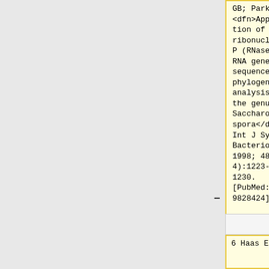GB; Park IH. <dfn>Application of the ribonuclease P (RNase P) RNA gene sequence for phylogenetic analysis of the genus Saccharomonospora</dfn>. Int J Syst Bacteriol. 1998; 48(Pt 4):1223-1230. [PubMed: 9828424]
GB; Park IH. <dfn>Application of the ribonuclease P (RNase P) RNA gene sequence for phylogenetic analysis of the genus Saccharomonospora</dfn>. Int J Syst Bacteriol. 1998; 48(Pt 4):1223-1230. [PubMed: 9828424]
6 Haas ES,
6 Haas ES,